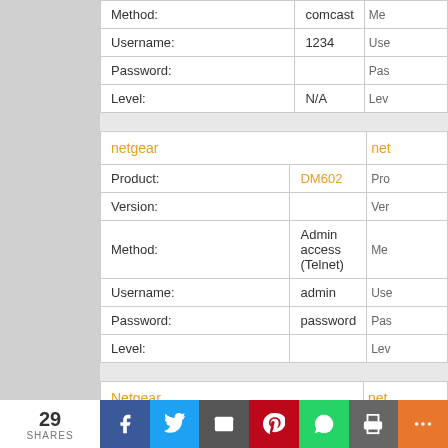| Field | Value |
| --- | --- |
| Method: | comcast |
| Username: | 1234 |
| Password: |  |
| Level: | N/A |
| netgear |  |
| --- | --- |
| Product: | DM602 |
| Version: |  |
| Method: | Admin access (Telnet) |
| Username: | admin |
| Password: | password |
| Level: |  |
| Netgear |  |
| --- | --- |
| Product: | MR314 |